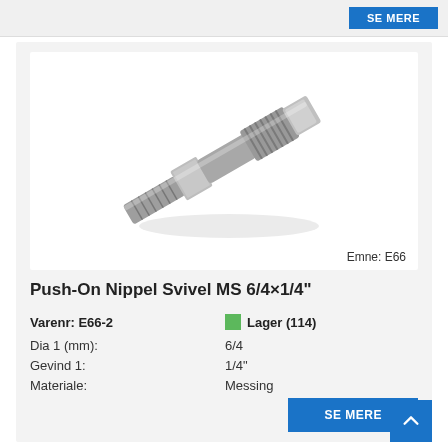[Figure (photo): Photograph of a Push-On Nippel Svivel MS 6/4×1/4 inch fitting, a nickel-plated brass swivel connector with knurled grip and threaded end, shown diagonally on white background. Label: Emne: E66]
Push-On Nippel Svivel MS 6/4×1/4"
Varenr: E66-2
Lager (114)
Dia 1 (mm): 6/4
Gevind 1: 1/4"
Materiale: Messing